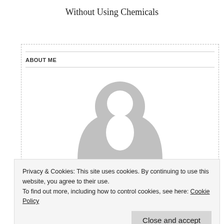Without Using Chemicals
ABOUT ME
[Figure (illustration): Generic user avatar silhouette in light grey, showing a circular head and rounded shoulders/torso shape]
Privacy & Cookies: This site uses cookies. By continuing to use this website, you agree to their use.
To find out more, including how to control cookies, see here: Cookie Policy
I like to try and share my best recipes for cleaning